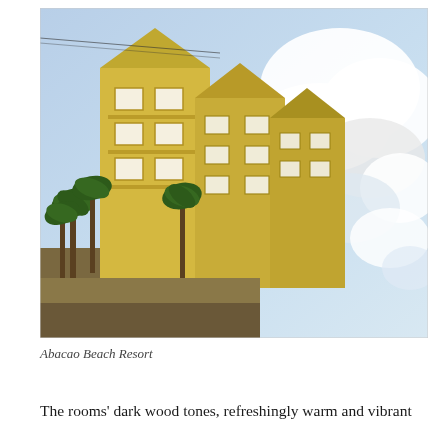[Figure (photo): Photograph of Abacao Beach Resort, showing yellow multi-story resort buildings with white-trimmed windows and balconies, palm trees lining the street in front, and a dramatic blue sky with large white clouds.]
Abacao Beach Resort
The rooms' dark wood tones, refreshingly warm and vibrant